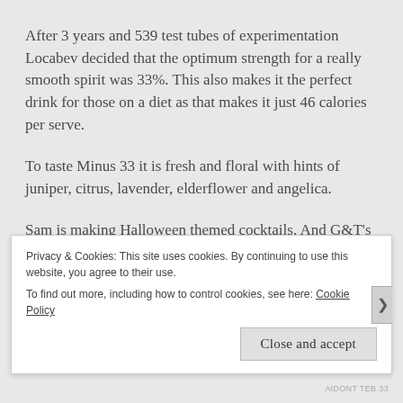After 3 years and 539 test tubes of experimentation Locabev decided that the optimum strength for a really smooth spirit was 33%.  This also makes it the perfect drink for those on a diet as that makes it just 46 calories per serve.
To taste Minus 33 it is fresh and floral with hints of juniper, citrus, lavender, elderflower and angelica.
Sam is making Halloween themed cocktails.  And G&T's with Raspberries, Blairgowrie boys need to have Rasps somewhere.
Privacy & Cookies: This site uses cookies. By continuing to use this website, you agree to their use.
To find out more, including how to control cookies, see here: Cookie Policy
AIDONT TEB 33